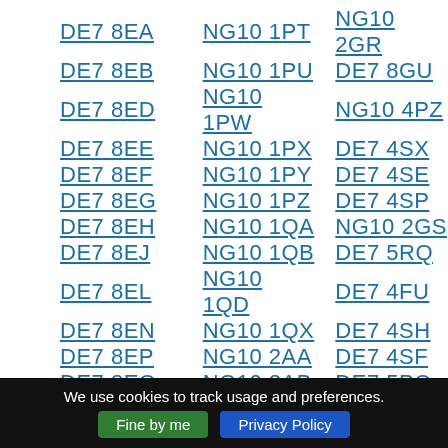DE7 8EA  NG10 1PT  NG10 2GR
DE7 8EB  NG10 1PU  DE7 8GU
DE7 8ED  NG10 1PW  NG10 4PZ
DE7 8EE  NG10 1PX  DE7 4SX
DE7 8EF  NG10 1PY  DE7 4SE
DE7 8EG  NG10 1PZ  DE7 4SP
DE7 8EH  NG10 1QA  NG10 2GS
DE7 8EJ  NG10 1QB  DE7 5RQ
DE7 8EL  NG10 1QD  DE7 4FU
DE7 8EN  NG10 1QX  DE7 4SH
DE7 8EP  NG10 2AA  DE7 4SF
DE7 8EQ  NG10 2AB  DE7 5PQ
We use cookies to track usage and preferences. Fine by me  Privacy Policy